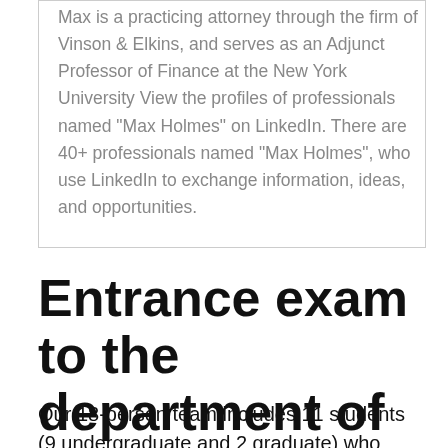Max is a practicing attorney through the firm of Vinson & Elkins, and serves as an Adjunct Professor of Finance at the New York University View the profiles of professionals named "Max Holmes" on LinkedIn. There are 40+ professionals named "Max Holmes", who use LinkedIn to exchange information, ideas, and opportunities.
Entrance exam to the department of English
Our 18-person team includes 11 students (9 undergraduate and 2 graduate) who were selected from ...